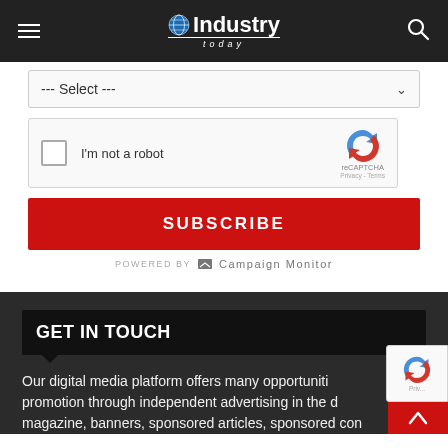Industry Today
--- Select ---
[Figure (screenshot): reCAPTCHA widget with checkbox labeled 'I'm not a robot' and reCAPTCHA logo with Privacy and Terms links]
SUBSCRIBE
POWERED BY Campaign Monitor
GET IN TOUCH
Our digital media platform offers many opportuniti promotion through independent advertising in the d magazine, banners, sponsored articles, sponsored con